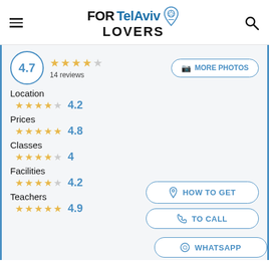[Figure (logo): FORTelAviv LOVERS logo with map pin icon]
4.7  ★★★★☆  14 reviews
MORE PHOTOS
Location  ★★★★☆  4.2
Prices  ★★★★★  4.8
Classes  ★★★★☆  4
Facilities  ★★★★☆  4.2
Teachers  ★★★★★  4.9
HOW TO GET
TO CALL
WHATSAPP